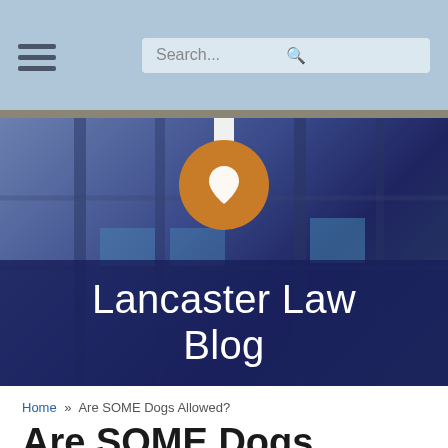Lancaster Law Blog — navigation bar with hamburger menu and search box
[Figure (screenshot): Lancaster Law Blog banner with orange pin logo and dark blue overlay, building photograph in background]
Lancaster Law Blog
Home » Are SOME Dogs Allowed?
Are SOME Dogs Allowed?